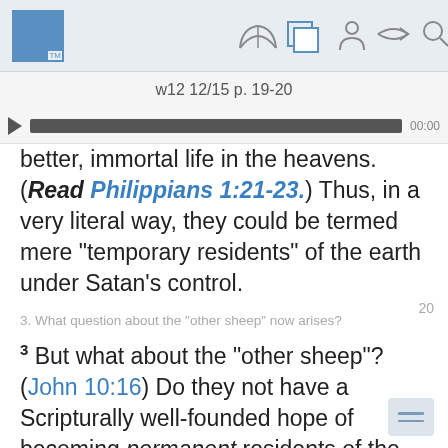w12 12/15 p. 19-20
better, immortal life in the heavens. (Read Philippians 1:21-23.) Thus, in a very literal way, they could be termed mere “temporary residents” of the earth under Satan’s control.
3. What question about the “other sheep” now arises?
3 But what about the “other sheep”? (John 10:16) Do they not have a Scripturally well-founded hope of becoming permanent residents of the earth? Indeed, that will be their home forever! Still, in a sense they too can at present be considered temporary residents. In what sense?
“ALL CREATION KEEPS ON